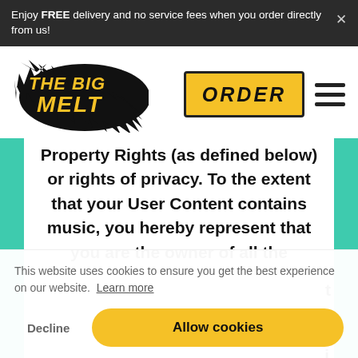Enjoy FREE delivery and no service fees when you order directly from us!
[Figure (logo): The Big Melt logo — stylized yellow graffiti text on black splash background]
[Figure (other): ORDER button in yellow with black border and shadow, followed by hamburger menu icon]
Property Rights (as defined below) or rights of privacy. To the extent that your User Content contains music, you hereby represent that you are the owner of all the
This website uses cookies to ensure you get the best experience on our website. Learn more
Decline   Allow cookies